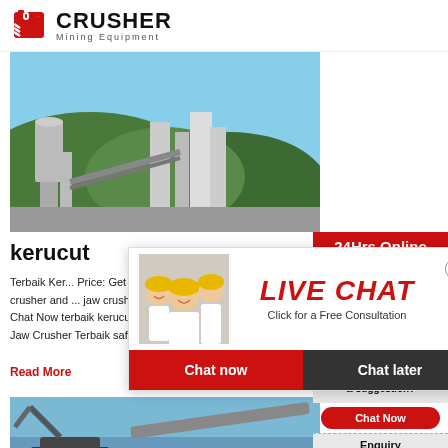CRUSHER Mining Equipment
[Figure (photo): Mining/industrial facility with conveyor belts and structures against green hills]
kerucut
Terbaik Ker... Price: Get L... crusher and ... jaw crusher price,, Portal sewa rumah terbaik di... Chat Now terbaik kerucut crusher kualitas gabu... Jaw Crusher Terbaik saffronschoolcoin the jaw c...
Read More
[Figure (photo): Mining equipment/excavator machinery outdoors]
[Figure (photo): Live Chat popup overlay with workers in yellow hard hats]
[Figure (photo): Customer service agent with headset - 24Hrs Online sidebar]